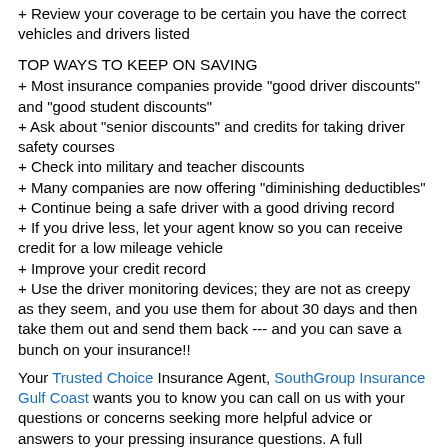+ Review your coverage to be certain you have the correct vehicles and drivers listed
TOP WAYS TO KEEP ON SAVING
+ Most insurance companies provide "good driver discounts" and "good student discounts"
+ Ask about "senior discounts" and credits for taking driver safety courses
+ Check into military and teacher discounts
+ Many companies are now offering "diminishing deductibles"
+ Continue being a safe driver with a good driving record
+ If you drive less, let your agent know so you can receive credit for a low mileage vehicle
+ Improve your credit record
+ Use the driver monitoring devices; they are not as creepy as they seem, and you use them for about 30 days and then take them out and send them back --- and you can save a bunch on your insurance!!
Your Trusted Choice Insurance Agent, SouthGroup Insurance Gulf Coast wants you to know you can call on us with your questions or concerns seeking more helpful advice or answers to your pressing insurance questions. A full insurance review is always your best bet to make sure you